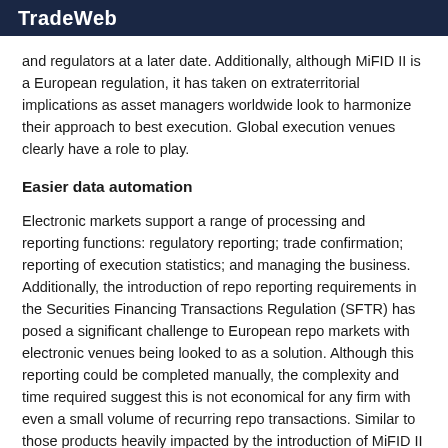Trade Web
and regulators at a later date. Additionally, although MiFID II is a European regulation, it has taken on extraterritorial implications as asset managers worldwide look to harmonize their approach to best execution. Global execution venues clearly have a role to play.
Easier data automation
Electronic markets support a range of processing and reporting functions: regulatory reporting; trade confirmation; reporting of execution statistics; and managing the business. Additionally, the introduction of repo reporting requirements in the Securities Financing Transactions Regulation (SFTR) has posed a significant challenge to European repo markets with electronic venues being looked to as a solution. Although this reporting could be completed manually, the complexity and time required suggest this is not economical for any firm with even a small volume of recurring repo transactions. Similar to those products heavily impacted by the introduction of MiFID II